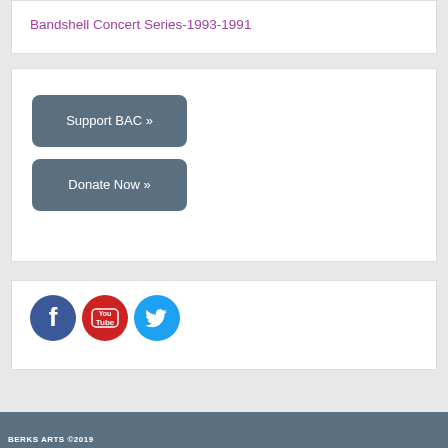Bandshell Concert Series-1993-1991
Support BAC »
Donate Now »
[Figure (illustration): Social media icons: Facebook (blue circle with F), YouTube (red circle with YouTube logo), Twitter (light blue circle with bird logo)]
BERKS ARTS ©2019